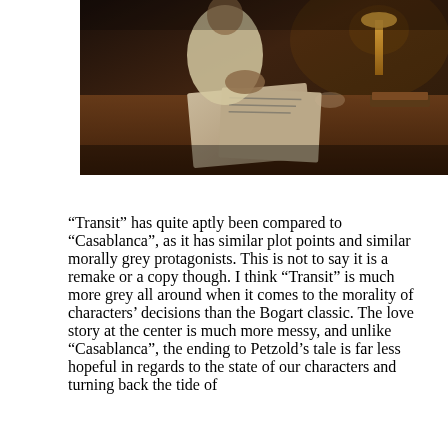[Figure (photo): A dark, warmly lit photograph showing a person in a light-colored shirt sitting at a wooden table, looking at papers/documents spread on the table. In the background there is a lamp and other objects on the table.]
“Transit” has quite aptly been compared to “Casablanca”, as it has similar plot points and similar morally grey protagonists. This is not to say it is a remake or a copy though. I think “Transit” is much more grey all around when it comes to the morality of characters’ decisions than the Bogart classic. The love story at the center is much more messy, and unlike “Casablanca”, the ending to Petzold’s tale is far less hopeful in regards to the state of our characters and turning back the tide of